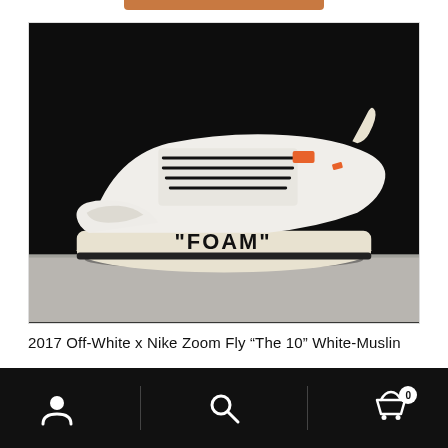[Figure (photo): White Nike Zoom Fly Off-White sneaker with black laces and orange accents, 'FOAM' printed on the cream midsole, displayed against a dark background on a concrete surface.]
2017 Off-White x Nike Zoom Fly “The 10” White-Muslin
$110.00   $115.00
Account | Search | Cart (0)